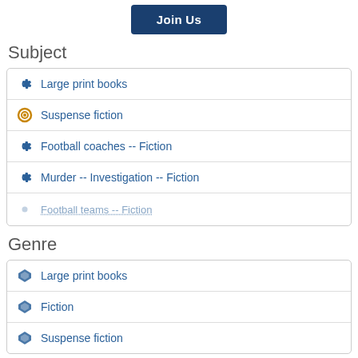[Figure (other): Join Us button (dark blue)]
Subject
Large print books
Suspense fiction
Football coaches -- Fiction
Murder -- Investigation -- Fiction
Football teams -- Fiction (partially visible)
Genre
Large print books
Fiction
Suspense fiction
Member of
Scott Manson thriller